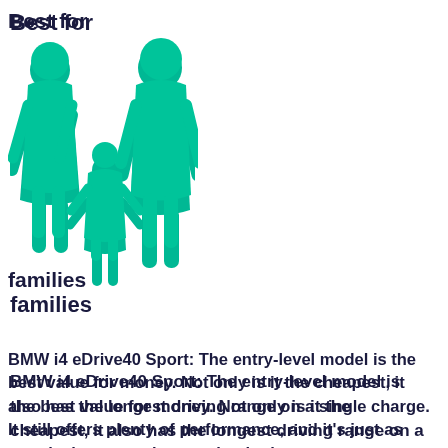[Figure (illustration): Teal/green family icon showing two adults and a child, with text 'Best for' above and 'families' below]
BMW i4 eDrive40 Sport: The entry-level model is the best value for money. Not only is it the cheapest, it also has the longest driving range on a single charge. It still offers plenty of performance, and it's just as practical as any other version in the range. : BMW i4 eDrive40 M Sport: All versions are just as good as each